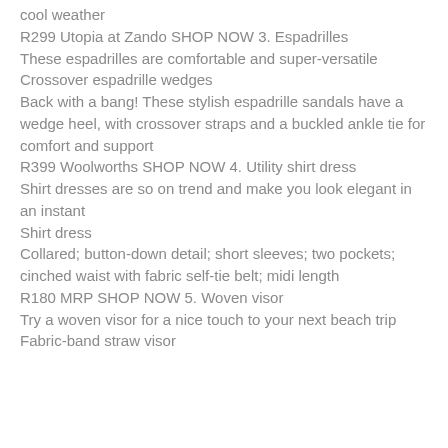cool weather
R299 Utopia at Zando SHOP NOW 3. Espadrilles
These espadrilles are comfortable and super-versatile
Crossover espadrille wedges
Back with a bang! These stylish espadrille sandals have a wedge heel, with crossover straps and a buckled ankle tie for comfort and support
R399 Woolworths SHOP NOW 4. Utility shirt dress
Shirt dresses are so on trend and make you look elegant in an instant
Shirt dress
Collared; button-down detail; short sleeves; two pockets; cinched waist with fabric self-tie belt; midi length
R180 MRP SHOP NOW 5. Woven visor
Try a woven visor for a nice touch to your next beach trip
Fabric-band straw visor